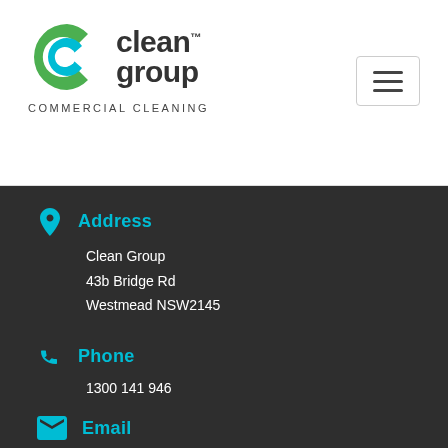[Figure (logo): Clean Group Commercial Cleaning logo with green and blue circular C icon]
[Figure (other): Hamburger menu icon (three horizontal lines) in a rounded rectangle border]
Address
Clean Group
43b Bridge Rd
Westmead NSW2145
Phone
1300 141 946
Email